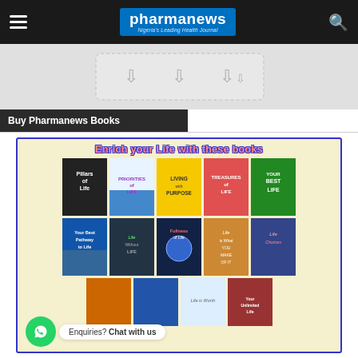pharmanews — Nigeria's Leading Health Journal
[Figure (screenshot): Partial image strip showing download/share icons on grey background]
Buy Pharmanews Books
[Figure (illustration): Advertisement banner: Enrich your Life with these books — showing 10 book covers in a grid including Pillars of Life, Priorities of Life, Living with Purpose, Treasures of Life, Your Best Life, Your Best Pathway to Life, Life Without Life, Fullness of Life, Life is What You Make of It, Life Choices, and more]
Enquiries? Chat with us